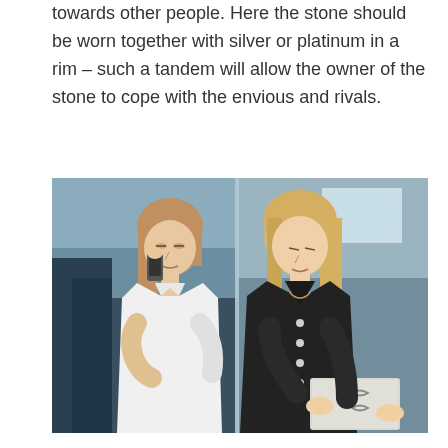towards other people. Here the stone should be worn together with silver or platinum in a rim – such a tandem will allow the owner of the stone to cope with the envious and rivals.
[Figure (photo): Two professional women standing back to back in an office setting. The woman on the left wears a white shirt and holds a phone to her ear. The woman on the right wears a black cardigan and holds a binder/folder, looking down at it.]